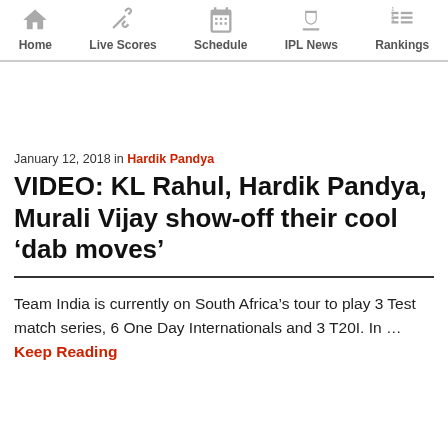Home | Live Scores | Schedule | IPL News | Rankings
January 12, 2018 in Hardik Pandya
VIDEO: KL Rahul, Hardik Pandya, Murali Vijay show-off their cool ‘dab moves’
Team India is currently on South Africa’s tour to play 3 Test match series, 6 One Day Internationals and 3 T20I. In ... Keep Reading